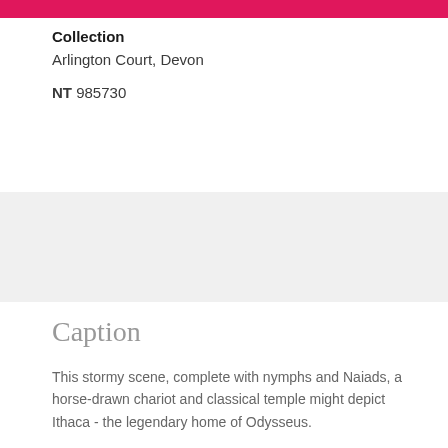Collection
Arlington Court, Devon
NT 985730
Caption
This stormy scene, complete with nymphs and Naiads, a horse-drawn chariot and classical temple might depict Ithaca - the legendary home of Odysseus.
This picture may have been purchased by John Chichester of Arlington directly from William Blake. At some point it was